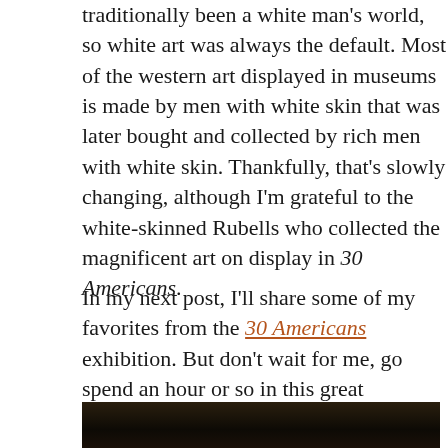traditionally been a white man's world, so white art was always the default. Most of the western art displayed in museums is made by men with white skin that was later bought and collected by rich men with white skin. Thankfully, that's slowly changing, although I'm grateful to the white-skinned Rubells who collected the magnificent art on display in 30 Americans.
In my next post, I'll share some of my favorites from the 30 Americans exhibition. But don't wait for me, go spend an hour or so in this great exhibition.
[Figure (photo): Dark photograph, partially visible at the bottom of the page, showing a dark background]